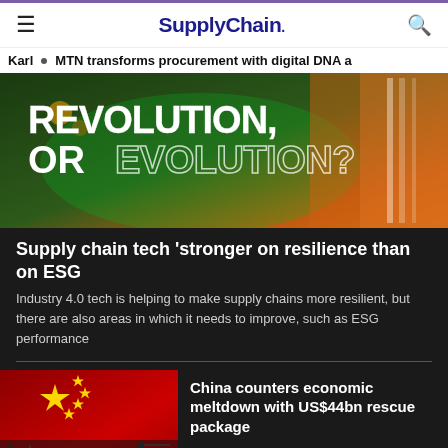SupplyChain.
Karl • MTN transforms procurement with digital DNA a
[Figure (photo): Hero image with bold text reading 'REVOLUTION, OR EVOLUTION?' on a dark green and orange background]
Supply chain tech 'stronger on resilience than on ESG
Industry 4.0 tech is helping to make supply chains more resilient, but there are also areas in which it needs to improve, such as ESG performance
[Figure (photo): China flag with circuit board overlay]
China counters economic meltdown with US$44bn rescue package